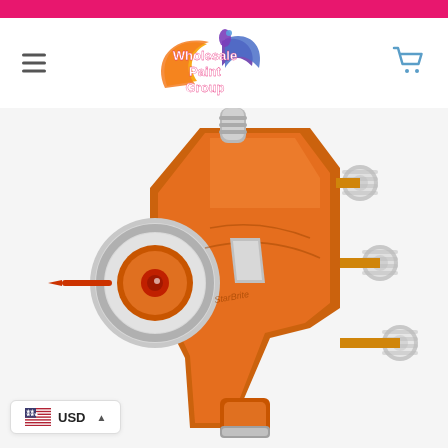[Figure (logo): Wholesale Paint Group logo with colorful wing/paint splash design and text]
[Figure (photo): Close-up photo of an orange and silver HVLP spray paint gun]